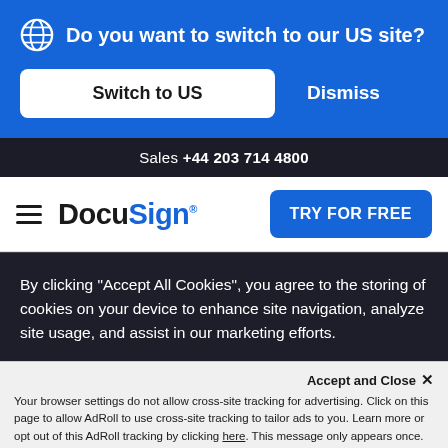Do you want to switch to our US site?
Switch to US
Dismiss
Sales +44 203 714 4800
[Figure (logo): DocuSign logo with hamburger menu icon]
TRY FOR FREE
By clicking “Accept All Cookies”, you agree to the storing of cookies on your device to enhance site navigation, analyze site usage, and assist in our marketing efforts.
Accept and Close ×
Your browser settings do not allow cross-site tracking for advertising. Click on this page to allow AdRoll to use cross-site tracking to tailor ads to you. Learn more or opt out of this AdRoll tracking by clicking here. This message only appears once.